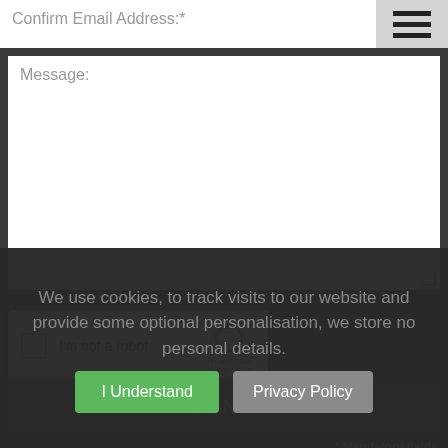Confirm Email Address:*
[Figure (screenshot): Hamburger menu icon with three horizontal lines on grey background]
Message:
[Figure (screenshot): reCAPTCHA widget with checkbox, 'I'm not a robot' label, and reCAPTCHA logo with Privacy and Terms links]
SEND
* Mandatory fields
We use cookies, to track visits to our website and provide some optional personalisation, we store no personal details.
I Understand
Privacy Policy